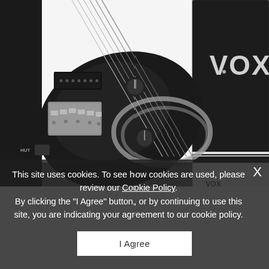[Figure (photo): Close-up photo of a black electric guitar body with strings, bridge, knobs, and cable, next to a black VOX amplifier with the VOX logo visible, on a white background.]
This site uses cookies. To see how cookies are used, please review our Cookie Policy. By clicking the "I Agree" button, or by continuing to use this site, you are indicating your agreement to our cookie policy.
I Agree